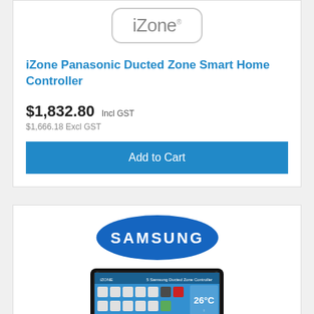[Figure (logo): iZone logo in rounded rectangle border]
iZone Panasonic Ducted Zone Smart Home Controller
$1,832.80 Incl GST
$1,666.18 Excl GST
Add to Cart
[Figure (logo): Samsung logo - blue oval with SAMSUNG text]
[Figure (photo): Samsung tablet device showing smart home controller interface with colored icons and temperature display]